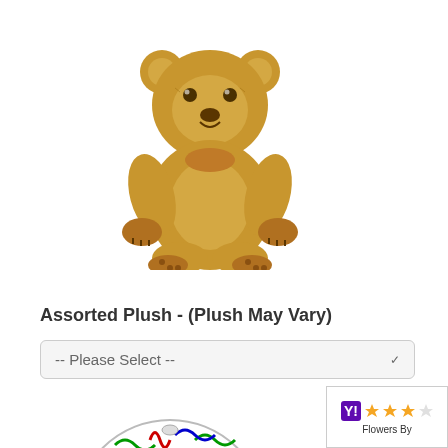[Figure (photo): A brown plush teddy bear sitting upright against a white background]
Assorted Plush - (Plush May Vary)
[Figure (photo): A round Happy Anniversary foil balloon with colorful streamers and confetti decoration]
[Figure (other): Yahoo shopping rating badge showing 3 stars and text 'Flowers By']